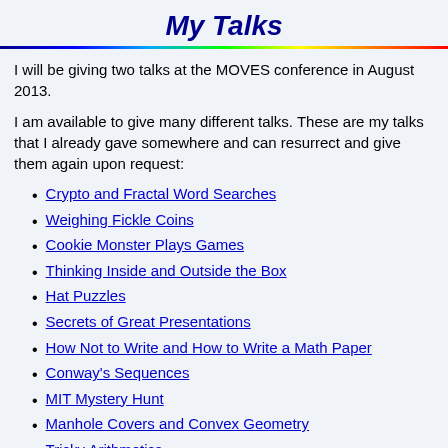My Talks
I will be giving two talks at the MOVES conference in August 2013.
I am available to give many different talks. These are my talks that I already gave somewhere and can resurrect and give them again upon request:
Crypto and Fractal Word Searches
Weighing Fickle Coins
Cookie Monster Plays Games
Thinking Inside and Outside the Box
Hat Puzzles
Secrets of Great Presentations
How Not to Write and How to Write a Math Paper
Conway's Sequences
MIT Mystery Hunt
Manhole Covers and Convex Geometry
Tricky Arithmetics
Jewish Puzzles